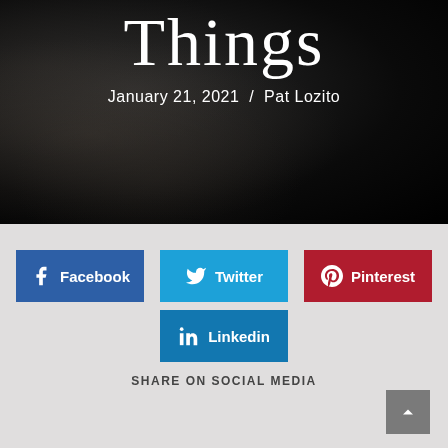[Figure (photo): Dark black and white photo background showing blurred hands or face, with large serif title text 'Things' partially visible at top and date/author 'January 21, 2021 / Pat Lozito' below]
January 21, 2021 / Pat Lozito
Facebook
Twitter
Pinterest
Linkedin
SHARE ON SOCIAL MEDIA